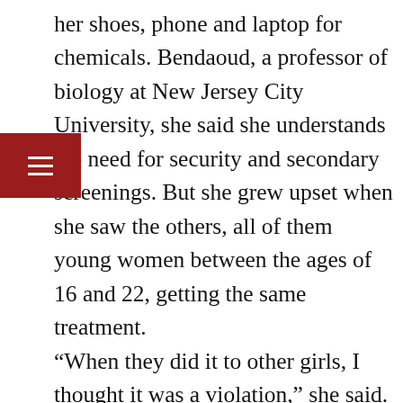her shoes, phone and laptop for chemicals. Bendaoud, a professor of biology at New Jersey City University, she said she understands the need for security and secondary screenings. But she grew upset when she saw the others, all of them young women between the ages of 16 and 22, getting the same treatment. “When they did it to other girls, I thought it was a violation,” she said. “At least I had my girls with me. I could talk to them. They didn’t have their parents. One was a minor. Some of them started crying. Can you imagine seeing this happen to these poor girls?” Among the group were three sisters from Wayne. The oldest, Suzanne Elfarra, now 23, said she